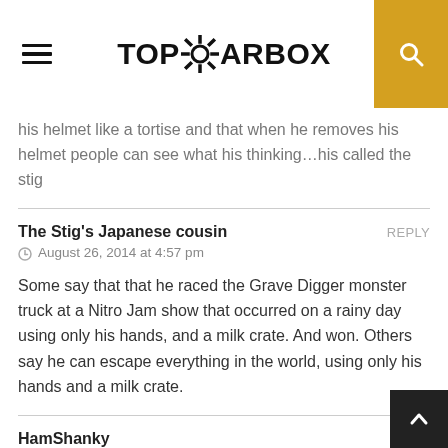TOPGEARBOX
his helmet like a tortise and that when he removes his helmet people can see what his thinking…his called the stig
The Stig's Japanese cousin
August 26, 2014 at 4:57 pm

Some say that that he raced the Grave Digger monster truck at a Nitro Jam show that occurred on a rainy day using only his hands, and a milk crate. And won. Others say he can escape everything in the world, using only his hands and a milk crate.
HamShanky
August 26, 2014 at 2:00 am

Some say that he once slipped on an orange peel, some